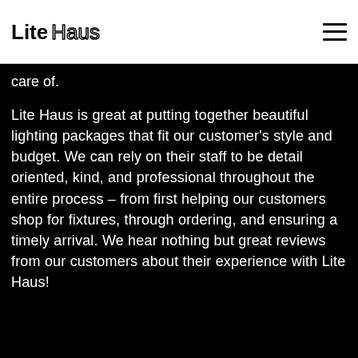Lite Haus
care of.
Lite Haus is great at putting together beautiful lighting packages that fit our customer's style and budget. We can rely on their staff to be detail oriented, kind, and professional throughout the entire process – from first helping our customers shop for fixtures, through ordering, and ensuring a timely arrival. We hear nothing but great reviews from our customers about their experience with Lite Haus!